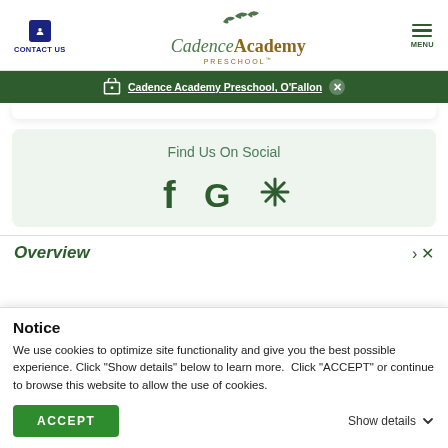CONTACT US | Cadence Academy PRESCHOOL | MENU
Cadence Academy Preschool, O'Fallon
[Figure (screenshot): White card strip partial visible at top]
Find Us On Social
[Figure (infographic): Social media icons: Facebook (f), Google (G), Yelp (asterisk/flower icon) in dark green on light green background]
Overview
Notice
We use cookies to optimize site functionality and give you the best possible experience. Click "Show details" below to learn more.  Click "ACCEPT" or continue to browse this website to allow the use of cookies.
ACCEPT
Show details